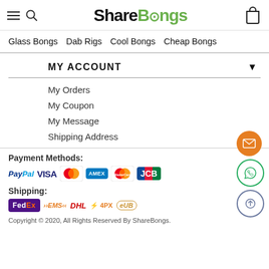ShareBongs — Glass Bongs  Dab Rigs  Cool Bongs  Cheap Bongs
MY ACCOUNT
My Orders
My Coupon
My Message
Shipping Address
Payment Methods:
[Figure (logo): Payment method logos: PayPal, VISA, MasterCard, AMEX, MasterCard, JCB]
Shipping:
[Figure (logo): Shipping logos: FedEx, EMS, DHL, 4PX, eUB]
Copyright © 2020, All Rights Reserved By ShareBongs.